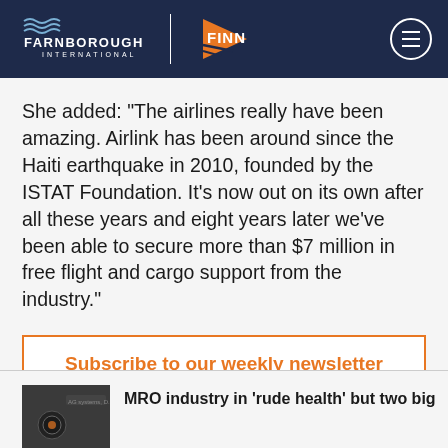Farnborough International | FINN
She added: “The airlines really have been amazing. Airlink has been around since the Haiti earthquake in 2010, founded by the ISTAT Foundation. It’s now out on its own after all these years and eight years later we’ve been able to secure more than $7 million in free flight and cargo support from the industry.”
Subscribe to our weekly newsletter
MRO industry in ‘rude health’ but two big